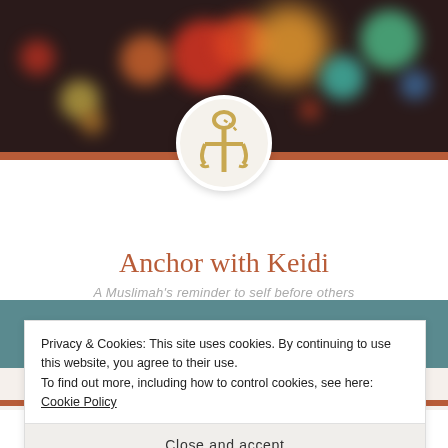[Figure (photo): Blurred bokeh background banner with colorful circles of light (red, orange, green, teal) on a dark background]
[Figure (photo): Circular avatar image showing a gold/bronze anchor pendant on white background]
Anchor with Keidi
A Muslimah's reminder to self before others
[Figure (screenshot): Teal navigation bar with gear/settings icon on the left and search icon on the right]
Privacy & Cookies: This site uses cookies. By continuing to use this website, you agree to their use.
To find out more, including how to control cookies, see here: Cookie Policy
Close and accept
CHARITY 09:79-80